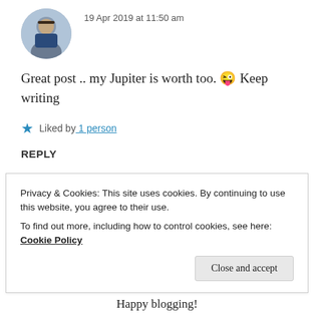19 Apr 2019 at 11:50 am
Great post .. my Jupiter is worth too. 😜 Keep writing
★ Liked by 1 person
REPLY
ZEALOUS HOMO SAPIENS
Privacy & Cookies: This site uses cookies. By continuing to use this website, you agree to their use.
To find out more, including how to control cookies, see here: Cookie Policy
Close and accept
Happy blogging!